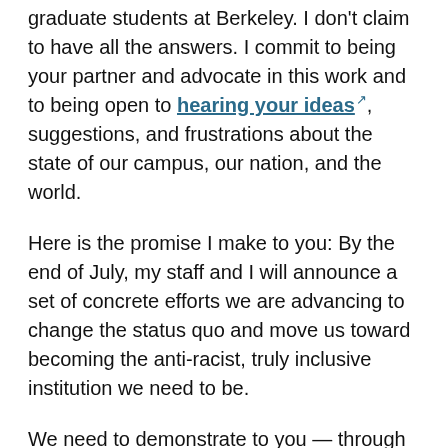graduate students at Berkeley. I don't claim to have all the answers. I commit to being your partner and advocate in this work and to being open to hearing your ideas, suggestions, and frustrations about the state of our campus, our nation, and the world.
Here is the promise I make to you: By the end of July, my staff and I will announce a set of concrete efforts we are advancing to change the status quo and move us toward becoming the anti-racist, truly inclusive institution we need to be.
We need to demonstrate to you — through our actions — that we are doing everything we can to actively fight against racism and hate in all their forms.
Please share your thoughts in this Google form. If you would like to reach out to me directly, please email me at